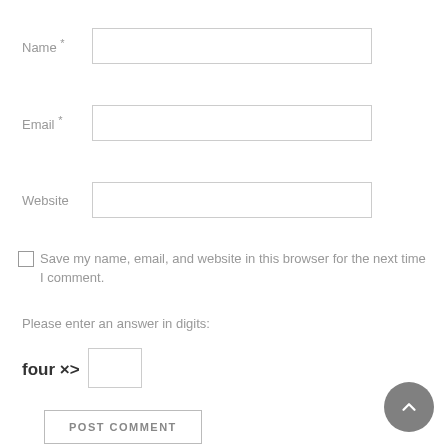Name *
Email *
Website
Save my name, email, and website in this browser for the next time I comment.
Please enter an answer in digits:
four × one =
POST COMMENT